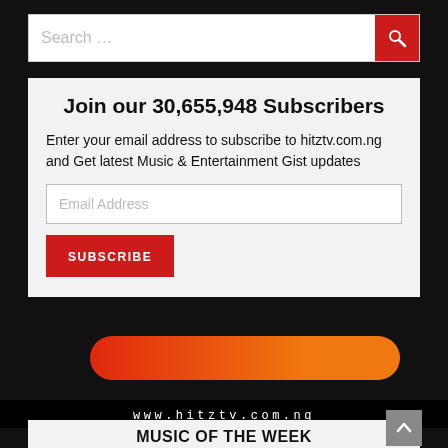[Figure (screenshot): Search bar with placeholder text 'Search ...' and a red search button with magnifying glass icon]
Join our 30,655,948 Subscribers
Enter your email address to subscribe to hitztv.com.ng and Get latest Music & Entertainment Gist updates
[Figure (screenshot): Email address input field with placeholder 'Email Address' and a red SUBSCRIBE button]
[Figure (illustration): Partial orange/red curved shape on black background]
www.hitztv.com.ng
MUSIC OF THE WEEK
MUSIC: Carter Efe & Berri Tiga – Machala